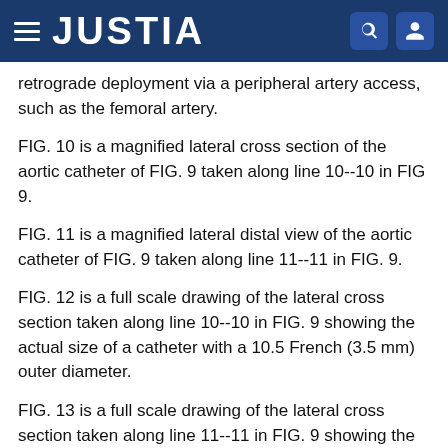JUSTIA
retrograde deployment via a peripheral artery access, such as the femoral artery.
FIG. 10 is a magnified lateral cross section of the aortic catheter of FIG. 9 taken along line 10--10 in FIG 9.
FIG. 11 is a magnified lateral distal view of the aortic catheter of FIG. 9 taken along line 11--11 in FIG. 9.
FIG. 12 is a full scale drawing of the lateral cross section taken along line 10--10 in FIG. 9 showing the actual size of a catheter with a 10.5 French (3.5 mm) outer diameter.
FIG. 13 is a full scale drawing of the lateral cross section taken along line 11--11 in FIG. 9 showing the actual size of a catheter with a 12 French (4.0 mm) outer diameter.